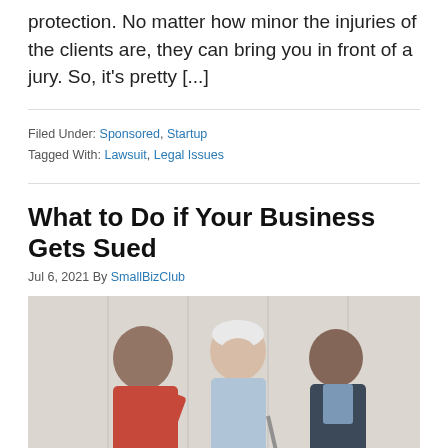protection. No matter how minor the injuries of the clients are, they can bring you in front of a jury. So, it's pretty [...]
Filed Under: Sponsored, Startup
Tagged With: Lawsuit, Legal Issues
What to Do if Your Business Gets Sued
Jul 6, 2021 By SmallBizClub
[Figure (photo): Three people in conversation — an older man with white hair in a light blue shirt, a woman in a red top on his left, and a woman in a dark blazer on his right, appearing to be in a legal or professional consultation setting.]